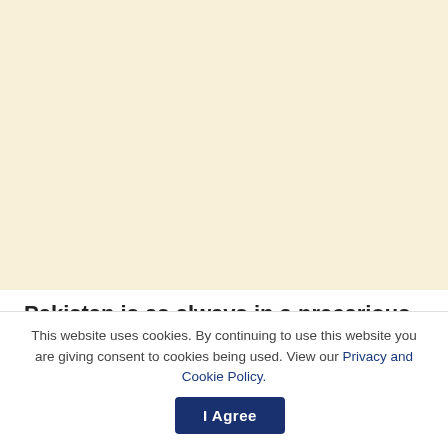[Figure (other): Cream/beige colored background area representing a webpage background above the article text]
Pakistan is as always in a precarious situation. It finds itself between a rock and a hard place, that is,
This website uses cookies. By continuing to use this website you are giving consent to cookies being used. View our Privacy and Cookie Policy.
I Agree